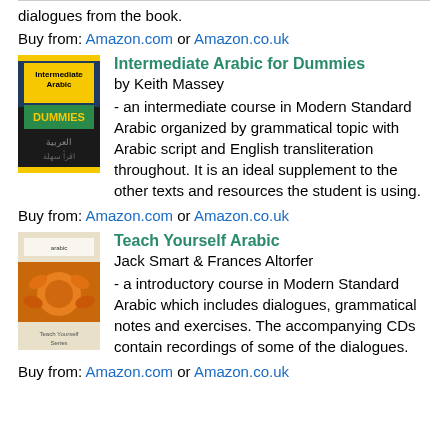dialogues from the book.
Buy from: Amazon.com or Amazon.co.uk
[Figure (photo): Book cover for Intermediate Arabic for Dummies]
Intermediate Arabic for Dummies
by Keith Massey
- an intermediate course in Modern Standard Arabic organized by grammatical topic with Arabic script and English transliteration throughout. It is an ideal supplement to the other texts and resources the student is using.
Buy from: Amazon.com or Amazon.co.uk
[Figure (photo): Book cover for Teach Yourself Arabic]
Teach Yourself Arabic
Jack Smart & Frances Altorfer
- a introductory course in Modern Standard Arabic which includes dialogues, grammatical notes and exercises. The accompanying CDs contain recordings of some of the dialogues.
Buy from: Amazon.com or Amazon.co.uk